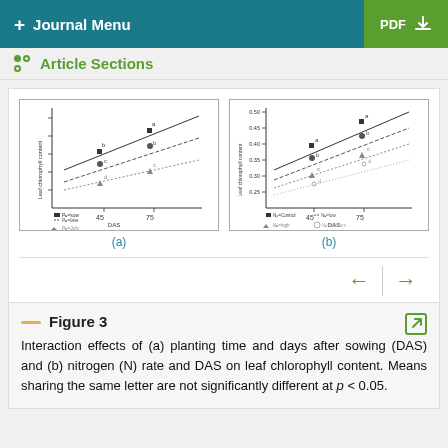+ Journal Menu | PDF
Article Sections
[Figure (continuous-plot): Two scatter/line plots side by side: (a) planting time and days after sowing vs leaf chlorophyll content, (b) nitrogen rate and DAS vs leaf chlorophyll content. Both show upward trend lines with data points.]
(a)
(b)
Figure 3
Interaction effects of (a) planting time and days after sowing (DAS) and (b) nitrogen (N) rate and DAS on leaf chlorophyll content. Means sharing the same letter are not significantly different at p < 0.05.